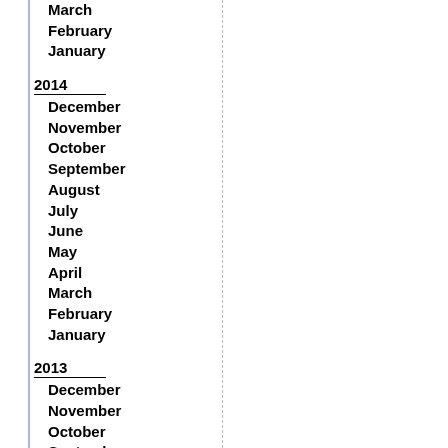March
February
January
2014
December
November
October
September
August
July
June
May
April
March
February
January
2013
December
November
October
September
August
July
June
May
April
March
February
January